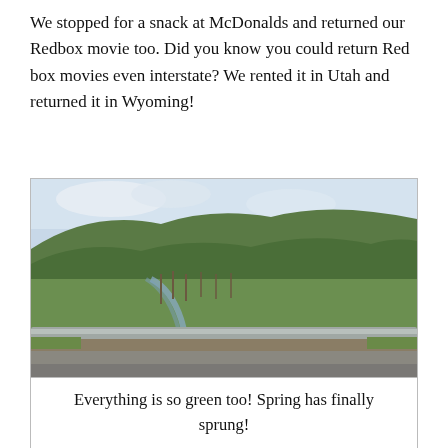We stopped for a snack at McDonalds and returned our Redbox movie too. Did you know you could return Red box movies even interstate? We rented it in Utah and returned it in Wyoming!
[Figure (photo): A landscape photo taken from a moving vehicle showing a guardrail in the foreground, a flat green valley with bare trees and a creek in the middle ground, and rolling green hills under a cloudy sky in the background.]
Everything is so green too! Spring has finally sprung!